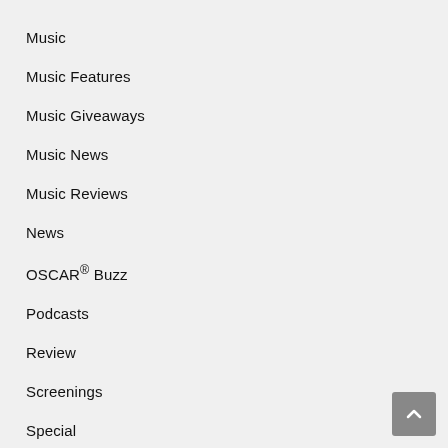Music
Music Features
Music Giveaways
Music News
Music Reviews
News
OSCAR® Buzz
Podcasts
Review
Screenings
Special
Sponsored